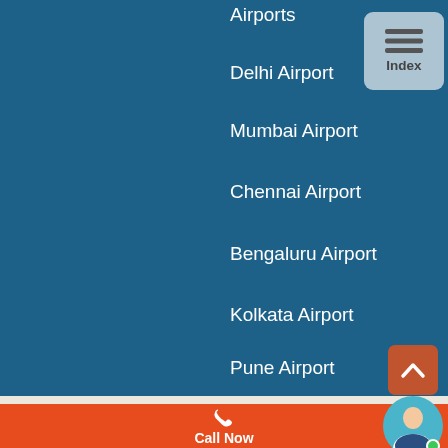Airports
Delhi Airport
Mumbai Airport
Chennai Airport
Bengaluru Airport
Kolkata Airport
Pune Airport
Goa Airport
Hyderabad Airport
Jaipur Airport
Lucknow Airport
Chandigarh Airport
[Figure (screenshot): Index button with hamburger icon top right]
[Figure (screenshot): Scroll up button bottom right]
Call Now
[Figure (photo): Customer service avatar photo bottom right]